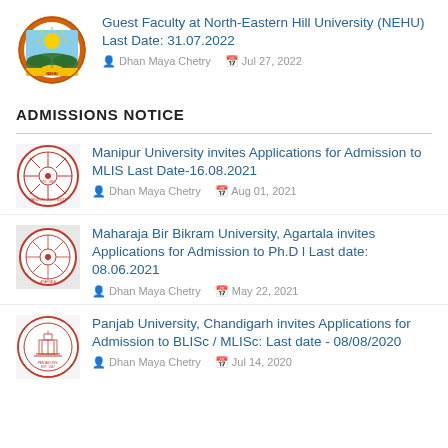[Figure (logo): North-Eastern Hill University circular logo with sun and landscape]
Guest Faculty at North-Eastern Hill University (NEHU) Last Date: 31.07.2022
Dhan Maya Chetry   Jul 27, 2022
ADMISSIONS NOTICE
[Figure (logo): Manipur University circular seal in red]
Manipur University invites Applications for Admission to MLIS Last Date-16.08.2021
Dhan Maya Chetry   Aug 01, 2021
[Figure (logo): Maharaja Bir Bikram University circular seal in red]
Maharaja Bir Bikram University, Agartala invites Applications for Admission to Ph.D l Last date: 08.06.2021
Dhan Maya Chetry   May 22, 2021
[Figure (logo): Panjab University circular seal in red]
Panjab University, Chandigarh invites Applications for Admission to BLISc / MLISc: Last date - 08/08/2020
Dhan Maya Chetry   Jul 14, 2020